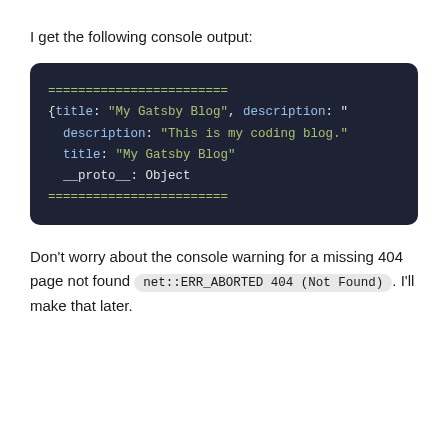I get the following console output:
[Figure (screenshot): Dark themed code block showing console output with separator lines and an object with title and description fields]
Don't worry about the console warning for a missing 404 page not found (net::ERR_ABORTED 404 (Not Found)). I'll make that later.